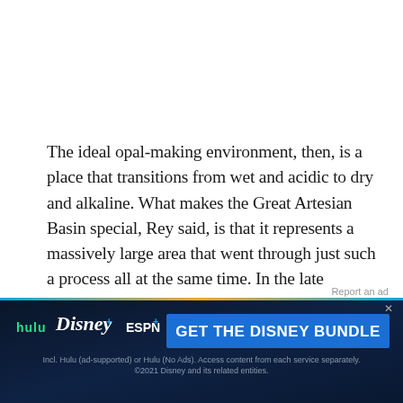The ideal opal-making environment, then, is a place that transitions from wet and acidic to dry and alkaline. What makes the Great Artesian Basin special, Rey said, is that it represents a massively large area that went through just such a process all at the same time. In the late Cretaceous, the area was covered by a shallow sea. In most places, a sea like this wouldn't get acidic enough for long enough, because the sea would be full of alkaline carbonate minerals. But the Great
[Figure (other): Disney Bundle advertisement banner showing Hulu, Disney+, and ESPN+ logos with 'GET THE DISNEY BUNDLE' call-to-action button. Text: 'Incl. Hulu (ad-supported) or Hulu (No Ads). Access content from each service separately. ©2021 Disney and its related entities.']